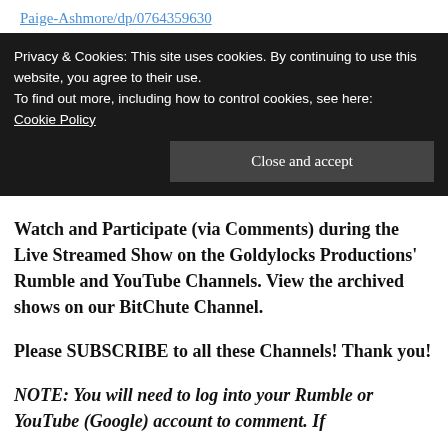Paige-Ashmore/dp/0764359630
Privacy & Cookies: This site uses cookies. By continuing to use this website, you agree to their use.
To find out more, including how to control cookies, see here: Cookie Policy
Close and accept
Watch and Participate (via Comments) during the Live Streamed Show on the Goldylocks Productions' Rumble and YouTube Channels. View the archived shows on our BitChute Channel.
Please SUBSCRIBE to all these Channels! Thank you!
NOTE: You will need to log into your Rumble or YouTube (Google) account to comment. If